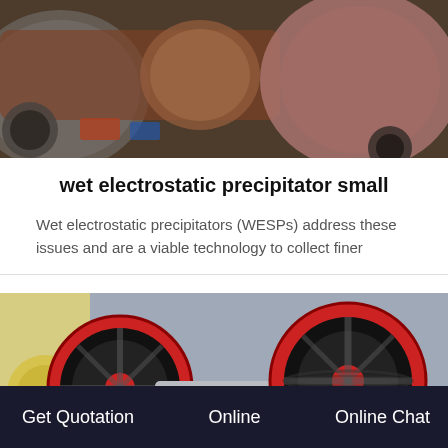[Figure (photo): Industrial machinery photo showing large metal drums/rollers and mechanical components in a workshop setting]
wet electrostatic precipitator small
Wet electrostatic precipitators (WESPs) address these issues and are a viable technology to collect finer
[Figure (photo): Industrial jaw crusher machine with large red and black flywheels, grey body, in a factory environment]
Get Quotation   Online   Online Chat